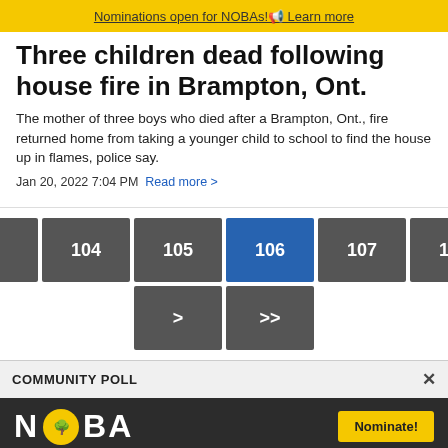Nominations open for NOBAs! Learn more
Three children dead following house fire in Brampton, Ont.
The mother of three boys who died after a Brampton, Ont., fire returned home from taking a younger child to school to find the house up in flames, police say.
Jan 20, 2022 7:04 PM  Read more >
[Figure (other): Pagination controls showing page navigation buttons: <<, <, 104, 105, 106 (active/highlighted in blue), 107, 108, 109, >, >>]
COMMUNITY POLL
[Figure (other): NOBA (Northern Ontario Business Awards) advertisement banner with dark background. Shows NOBA logo with yellow circle icon, Nominate! button, and text: CALL FOR NOMINATIONS for the 2022 Northern Ontario Business Awards!]